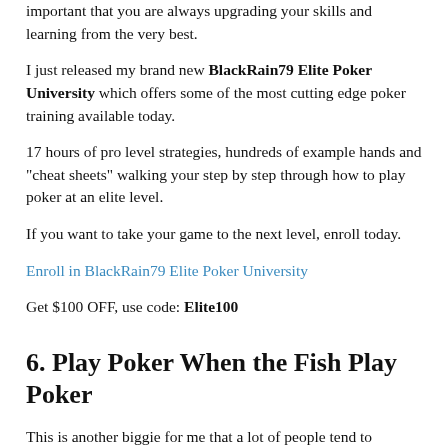important that you are always upgrading your skills and learning from the very best.
I just released my brand new BlackRain79 Elite Poker University which offers some of the most cutting edge poker training available today.
17 hours of pro level strategies, hundreds of example hands and "cheat sheets" walking your step by step through how to play poker at an elite level.
If you want to take your game to the next level, enroll today.
Enroll in BlackRain79 Elite Poker University
Get $100 OFF, use code: Elite100
6. Play Poker When the Fish Play Poker
This is another biggie for me that a lot of people tend to overlook.